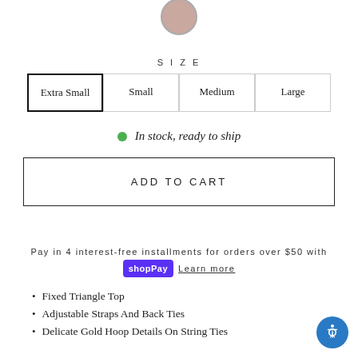[Figure (photo): Partial view of a product swatch circle in mauve/rose color at top of page]
SIZE
Extra Small  Small  Medium  Large
In stock, ready to ship
ADD TO CART
Pay in 4 interest-free installments for orders over $50 with shop Pay Learn more
Fixed Triangle Top
Adjustable Straps And Back Ties
Delicate Gold Hoop Details On String Ties